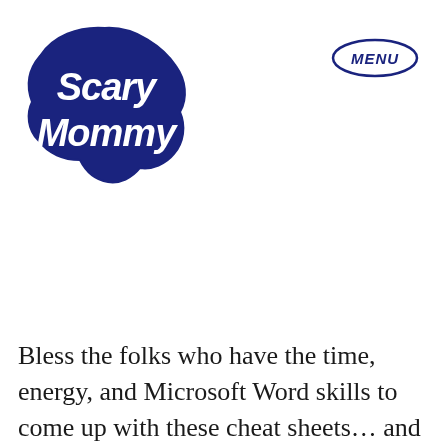[Figure (logo): Scary Mommy logo in dark navy blue, stylized cursive lettering with cloud-like border]
[Figure (other): MENU button in dark navy blue oval outline with italic bold text]
Bless the folks who have the time, energy, and Microsoft Word skills to come up with these cheat sheets… and I say that with total